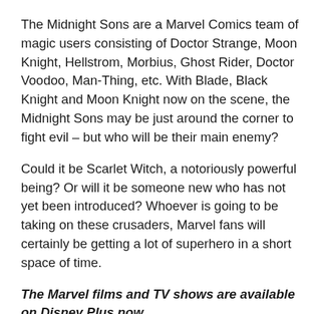The Midnight Sons are a Marvel Comics team of magic users consisting of Doctor Strange, Moon Knight, Hellstrom, Morbius, Ghost Rider, Doctor Voodoo, Man-Thing, etc. With Blade, Black Knight and Moon Knight now on the scene, the Midnight Sons may be just around the corner to fight evil – but who will be their main enemy?
Could it be Scarlet Witch, a notoriously powerful being? Or will it be someone new who has not yet been introduced? Whoever is going to be taking on these crusaders, Marvel fans will certainly be getting a lot of superhero in a short space of time.
The Marvel films and TV shows are available on Disney Plus now.